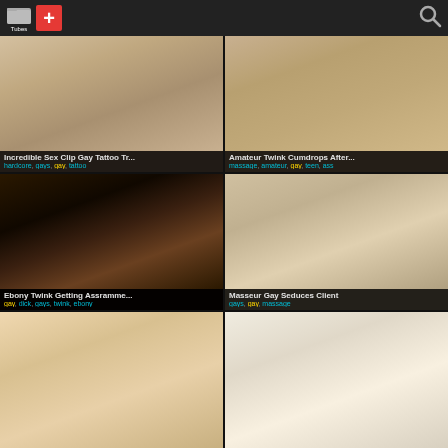Tubes + [search]
[Figure (screenshot): Thumbnail 1 - skin tones close-up]
Incredible Sex Clip Gay Tattoo Tr...
hardcore, gays, gay, tattoo
[Figure (screenshot): Thumbnail 2 - skin tones close-up]
Amateur Twink Cumdrops After...
massage, amateur, gay, teen, ass
[Figure (screenshot): Thumbnail 3 - dark tones]
Ebony Twink Getting Assramme...
gay, dick, gays, twink, ebony
[Figure (screenshot): Thumbnail 4 - warm skin tones]
Masseur Gay Seduces Client
gays, gay, massage
[Figure (screenshot): Thumbnail 5 - warm tones]
[Figure (screenshot): Thumbnail 6 - bedroom scene light tones]